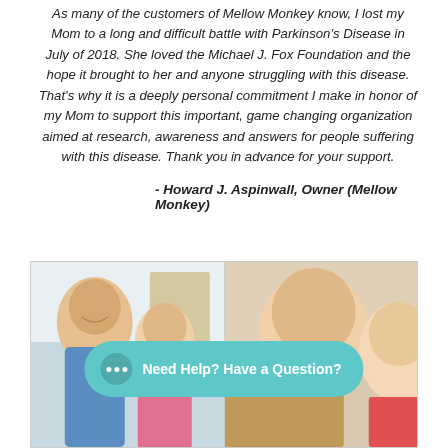As many of the customers of Mellow Monkey know, I lost my Mom to a long and difficult battle with Parkinson's Disease in July of 2018. She loved the Michael J. Fox Foundation and the hope it brought to her and anyone struggling with this disease. That's why it is a deeply personal commitment I make in honor of my Mom to support this important, game changing organization aimed at research, awareness and answers for people suffering with this disease. Thank you in advance for your support.
- Howard J. Aspinwall, Owner (Mellow Monkey)
[Figure (photo): Two side-by-side photos of people smiling, likely at a casual outdoor or restaurant setting. A teal chat bubble overlay reads 'Need Help? Have a Question?']